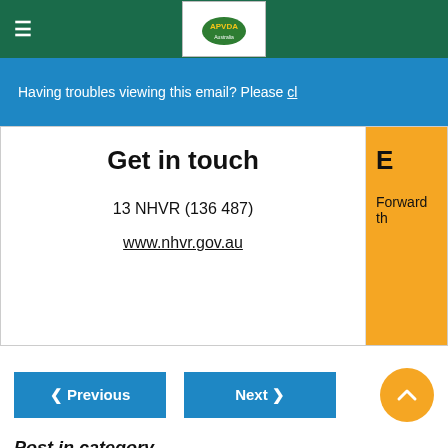APVDA logo navigation bar with hamburger menu
Having troubles viewing this email? Please cl
Get in touch
13 NHVR (136 487)
www.nhvr.gov.au
E
Forward th
< Previous
Next >
Post in category